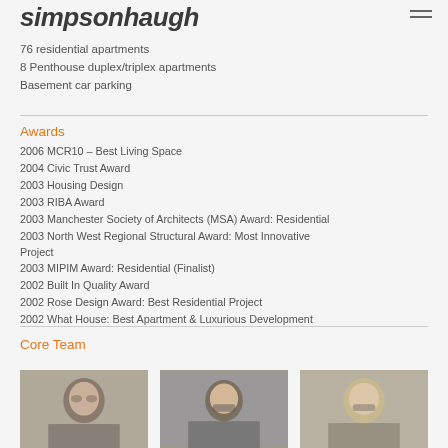simpsonhaugh
76 residential apartments
8 Penthouse duplex/triplex apartments
Basement car parking
Awards
2006 MCR10 – Best Living Space
2004 Civic Trust Award
2003 Housing Design
2003 RIBA Award
2003 Manchester Society of Architects (MSA) Award: Residential
2003 North West Regional Structural Award: Most Innovative Project
2003 MIPIM Award: Residential (Finalist)
2002 Built In Quality Award
2002 Rose Design Award: Best Residential Project
2002 What House: Best Apartment & Luxurious Development
Core Team
[Figure (photo): Portrait photo of male team member]
[Figure (photo): Portrait photo of female team member with short hair and glasses]
[Figure (photo): Portrait photo of female team member with blonde hair and glasses]